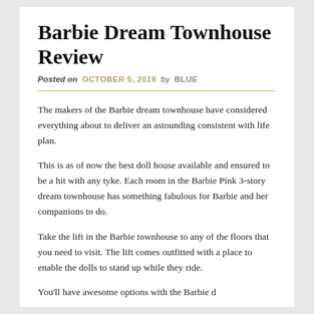Barbie Dream Townhouse Review
Posted on OCTOBER 5, 2019 by BLUE
The makers of the Barbie dream townhouse have considered everything about to deliver an astounding consistent with life plan.
This is as of now the best doll house available and ensured to be a hit with any tyke. Each room in the Barbie Pink 3-story dream townhouse has something fabulous for Barbie and her companions to do.
Take the lift in the Barbie townhouse to any of the floors that you need to visit. The lift comes outfitted with a place to enable the dolls to stand up while they ride.
You'll have awesome options with the Barbie dream...